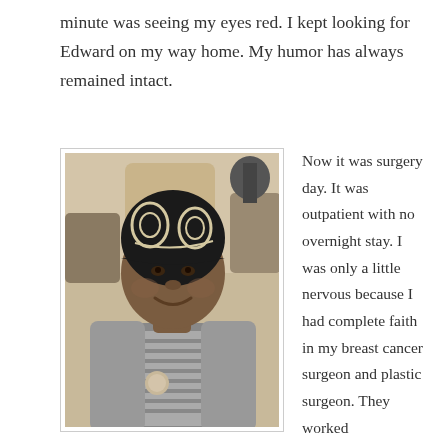minute was seeing my eyes red. I kept looking for Edward on my way home. My humor has always remained intact.
[Figure (photo): A woman wearing a black and white patterned head covering, smiling, dressed in a gray striped shirt with a brooch, seated in what appears to be a medical or waiting room setting.]
Now it was surgery day. It was outpatient with no overnight stay. I was only a little nervous because I had complete faith in my breast cancer surgeon and plastic surgeon. They worked exceptionally well together. I can honestly say I still have a total girl crush on them. My breast cancer